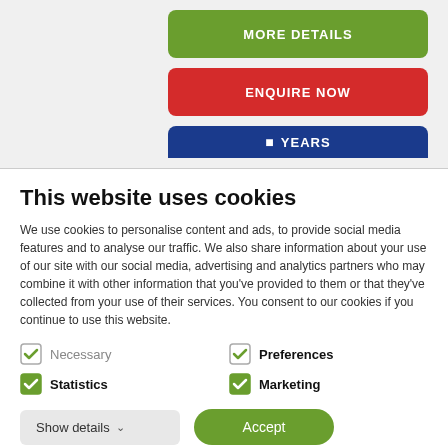[Figure (screenshot): Partial website screenshot showing green MORE DETAILS button, red ENQUIRE NOW button, and partially visible blue YEARS button]
This website uses cookies
We use cookies to personalise content and ads, to provide social media features and to analyse our traffic. We also share information about your use of our site with our social media, advertising and analytics partners who may combine it with other information that you've provided to them or that they've collected from your use of their services. You consent to our cookies if you continue to use this website.
Necessary
Preferences
Statistics
Marketing
Show details
Accept